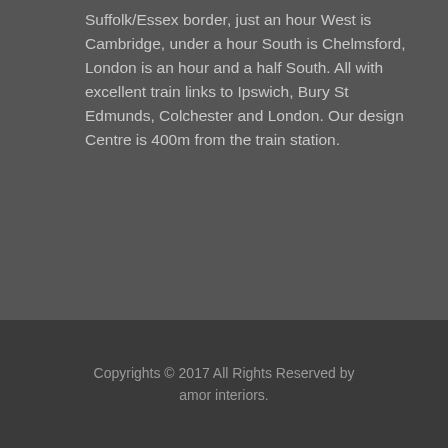Suffolk/Essex border, just an hour West is Cambridge, under a hour South is Chelmsford, London is an hour and a half South. All with excellent train links to Ipswich, Bury St Edmunds, Colchester and London. Our design Centre is 400m from the train station.
Copyrights © 2017 All Rights Reserved by amor interiors.